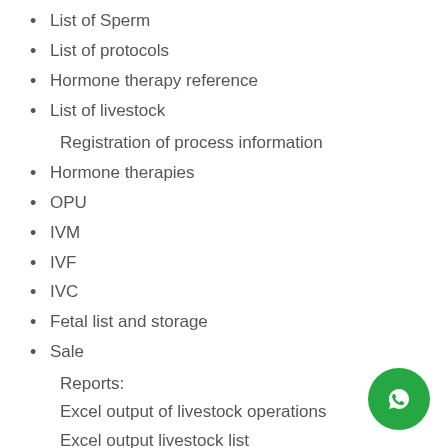List of Sperm
List of protocols
Hormone therapy reference
List of livestock
Registration of process information
Hormone therapies
OPU
IVM
IVF
IVC
Fetal list and storage
Sale
Reports:
Excel output of livestock operations
Excel output livestock list
Types of managerial and analytical reports
[Figure (logo): WhatsApp chat button, green circular icon with white speech bubble/phone icon]